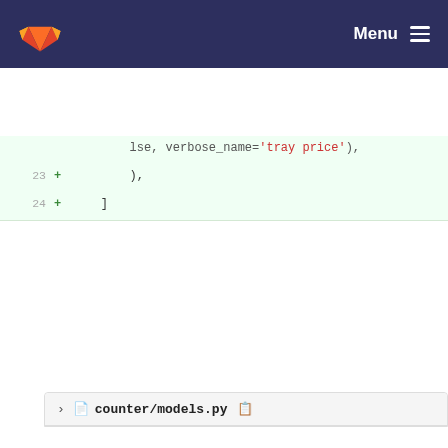GitLab — Menu
[Figure (screenshot): GitLab diff view showing code changes to counter/models.py. Top snippet shows lines 23-24 with added lines containing '),' and ']'. Below is a file header for counter/models.py followed by a diff starting at hunk @@ -83,6 +83,8 @@ class Product(models.Model):. Lines 83-85 show unchanged code for special_selling_price, icon, and club fields. Lines 86-87 show added lines for limit_age and tray fields.]